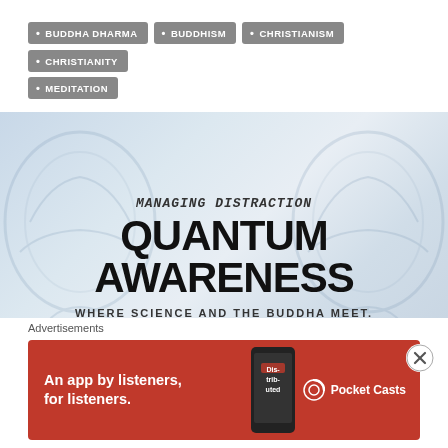• BUDDHA DHARMA
• BUDDHISM
• CHRISTIANISM
• CHRISTIANITY
• MEDITATION
[Figure (illustration): Banner image with brain silhouettes in light blue-grey, containing text: MANAGING DISTRACTION / QUANTUM AWARENESS / WHERE SCIENCE AND THE BUDDHA MEET.]
Advertisements
[Figure (illustration): Red advertisement banner: 'An app by listeners, for listeners.' with Pocket Casts logo and phone image]